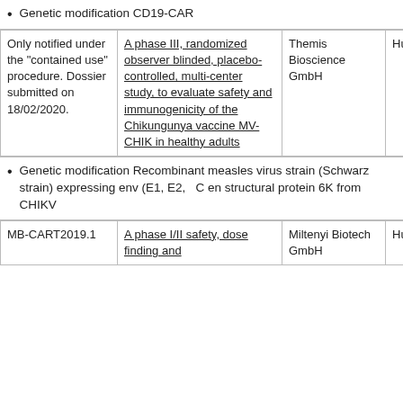Genetic modification CD19-CAR
|  | Description | Applicant | Recipients |
| --- | --- | --- | --- |
| Only notified under the "contained use" procedure. Dossier submitted on 18/02/2020. | A phase III, randomized observer blinded, placebo-controlled, multi-center study, to evaluate safety and immunogenicity of the Chikungunya vaccine MV-CHIK in healthy adults | Themis Bioscience GmbH | Humans |
Genetic modification Recombinant measles virus strain (Schwarz strain) expressing env (E1, E2, C en structural protein 6K from CHIKV
|  |  |  |  |
| --- | --- | --- | --- |
| MB-CART2019.1 | A phase I/II safety, dose finding and | Miltenyi Biotech GmbH | Humans |